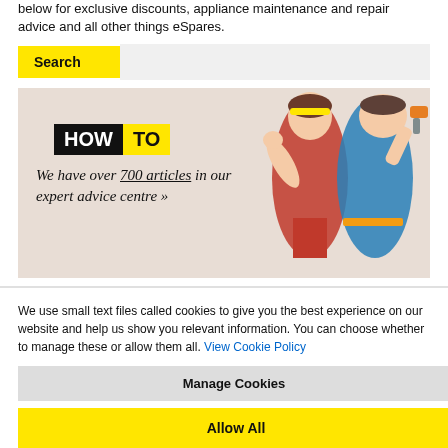below for exclusive discounts, appliance maintenance and repair advice and all other things eSpares.
[Figure (screenshot): Search bar with yellow Search button on left and grey input area on right]
[Figure (illustration): HOW TO banner with black block HOW label and yellow TO label, italic text 'We have over 700 articles in our expert advice centre »', and retro comic-style cartoon of a woman and man in DIY poses]
We use small text files called cookies to give you the best experience on our website and help us show you relevant information. You can choose whether to manage these or allow them all. View Cookie Policy
Manage Cookies
Allow All